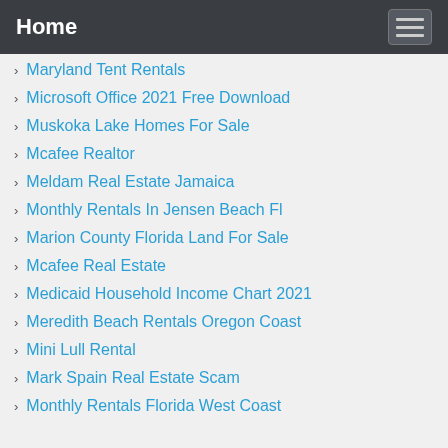Home
Maryland Tent Rentals
Microsoft Office 2021 Free Download
Muskoka Lake Homes For Sale
Mcafee Realtor
Meldam Real Estate Jamaica
Monthly Rentals In Jensen Beach Fl
Marion County Florida Land For Sale
Mcafee Real Estate
Medicaid Household Income Chart 2021
Meredith Beach Rentals Oregon Coast
Mini Lull Rental
Mark Spain Real Estate Scam
Monthly Rentals Florida West Coast